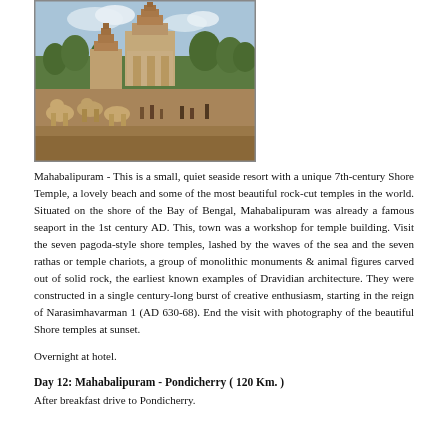[Figure (photo): Photograph of Mahabalipuram Shore Temple with stone carvings and animal sculptures in the foreground, trees in background, blue sky]
Mahabalipuram - This is a small, quiet seaside resort with a unique 7th-century Shore Temple, a lovely beach and some of the most beautiful rock-cut temples in the world. Situated on the shore of the Bay of Bengal, Mahabalipuram was already a famous seaport in the 1st century AD. This, town was a workshop for temple building. Visit the seven pagoda-style shore temples, lashed by the waves of the sea and the seven rathas or temple chariots, a group of monolithic monuments & animal figures carved out of solid rock, the earliest known examples of Dravidian architecture. They were constructed in a single century-long burst of creative enthusiasm, starting in the reign of Narasimhavarman 1 (AD 630-68). End the visit with photography of the beautiful Shore temples at sunset.
Overnight at hotel.
Day 12: Mahabalipuram - Pondicherry ( 120 Km. )
After breakfast drive to Pondicherry.